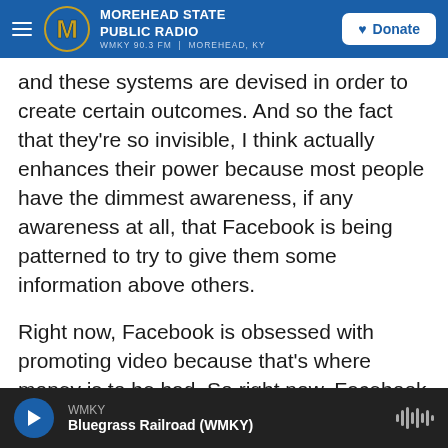MOREHEAD STATE PUBLIC RADIO — WMKY 90.3 FM | MOREHEAD, KY — Donate
and these systems are devised in order to create certain outcomes. And so the fact that they're so invisible, I think actually enhances their power because most people have the dimmest awareness, if any awareness at all, that Facebook is being patterned to try to give them some information above others.
Right now, Facebook is obsessed with promoting video because that's where money is to be had. So right now, Facebook is loading up your News Feed in order to give you much more video. And there are all these media companies — I bet NPR is one
WMKY — Bluegrass Railroad (WMKY)